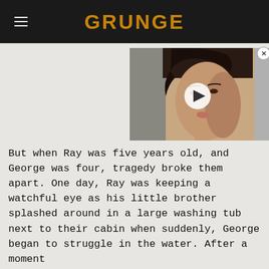GRUNGE
[Figure (photo): Video thumbnail showing a woman with short dark hair, close-up portrait, with a white play button overlay in the center]
But when Ray was five years old, and George was four, tragedy broke them apart. One day, Ray was keeping a watchful eye as his little brother splashed around in a large washing tub next to their cabin when suddenly, George began to struggle in the water. After a moment